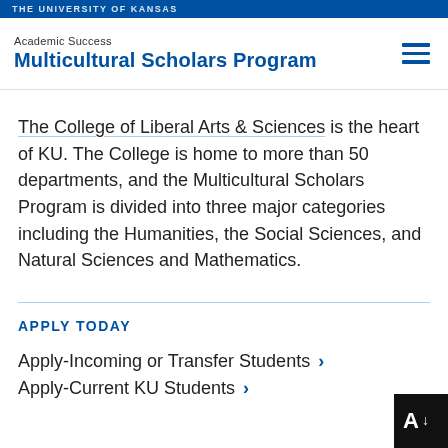THE UNIVERSITY OF KANSAS
Academic Success
Multicultural Scholars Program
The College of Liberal Arts & Sciences is the heart of KU. The College is home to more than 50 departments, and the Multicultural Scholars Program is divided into three major categories including the Humanities, the Social Sciences, and Natural Sciences and Mathematics.
APPLY TODAY
Apply-Incoming or Transfer Students
Apply-Current KU Students